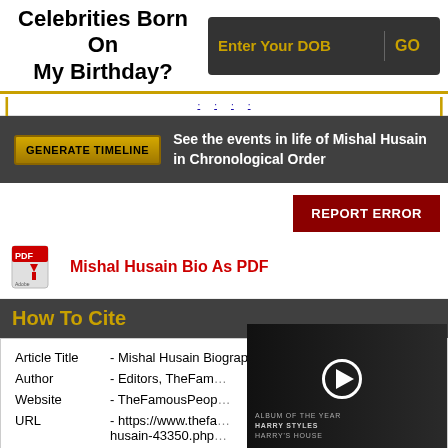Celebrities Born On My Birthday?
Enter Your DOB | GO
[Figure (screenshot): Navigation bar with yellow brackets and blue links]
GENERATE TIMELINE  See the events in life of Mishal Husain in Chronological Order
REPORT ERROR
Mishal Husain Bio As PDF
How To Cite
| Article Title | - Mishal Husain Biography |
| Author | - Editors, TheFam… |
| Website | - TheFamousPeop… |
| URL | - https://www.thefa… husain-43350.php… |
People Also Viewed